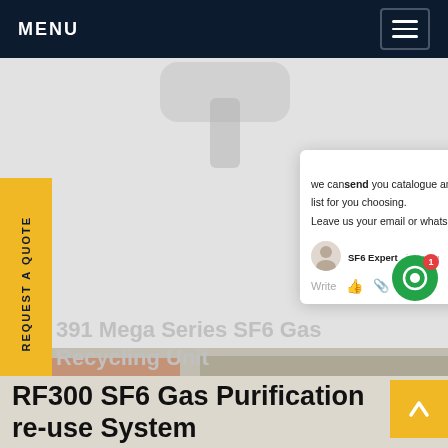MENU
[Figure (screenshot): Website screenshot showing a product page for SF6 gas equipment with navigation bar, product image area, chat popup overlay, and product titles]
we can send you catalogue and price list for you choosing. Leave us your email or whatsapp.
SF6 Expert   just now
Write
391 Mega Series SF6 Gas Recycling Unit
RF300 SF6 Gas Purification re-use System